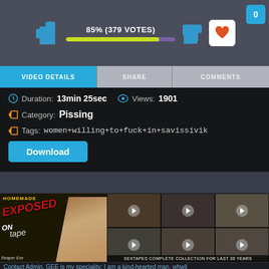[Figure (screenshot): Video rating bar showing 85% (379 VOTES) with thumbs up icon, progress bar (green/purple), thumbs down icon, and heart/favorite button]
VIDEO DETAILS | SHARE | COMMENTS  0
Duration: 13min 25sec   Views: 1901
Category: Pissing
Tags: women+willing+to+fuck+in+savissivik
Download
[Figure (photo): Banner advertisement: 'HOMEMADE EXPOSED ON tape' with woman photo and video thumbnails grid, text 'SEXTAPES COMPLETE COLLECTION FOR LAST 30 YEARS']
Contact Admin, GEE is my speciality: I am a kind-hearted man, whwil